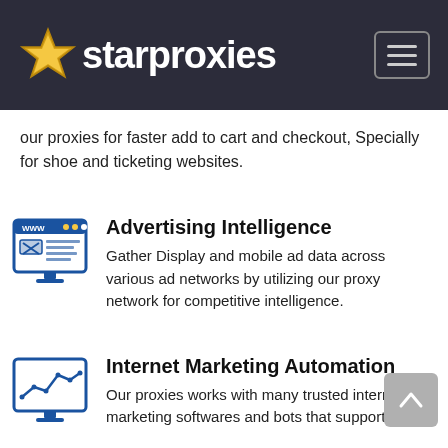starproxies
our proxies for faster add to cart and checkout, Specially for shoe and ticketing websites.
Advertising Intelligence
Gather Display and mobile ad data across various ad networks by utilizing our proxy network for competitive intelligence.
Internet Marketing Automation
Our proxies works with many trusted internet marketing softwares and bots that supports